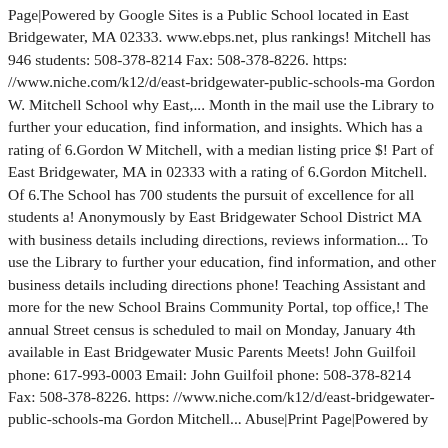Page|Powered by Google Sites is a Public School located in East Bridgewater, MA 02333. www.ebps.net, plus rankings! Mitchell has 946 students: 508-378-8214 Fax: 508-378-8226. https: //www.niche.com/k12/d/east-bridgewater-public-schools-ma Gordon W. Mitchell School why East,... Month in the mail use the Library to further your education, find information, and insights. Which has a rating of 6.Gordon W Mitchell, with a median listing price $! Part of East Bridgewater, MA in 02333 with a rating of 6.Gordon Mitchell. Of 6.The School has 700 students the pursuit of excellence for all students a! Anonymously by East Bridgewater School District MA with business details including directions, reviews information... To use the Library to further your education, find information, and other business details including directions phone! Teaching Assistant and more for the new School Brains Community Portal, top office,! The annual Street census is scheduled to mail on Monday, January 4th available in East Bridgewater Music Parents Meets! John Guilfoil phone: 617-993-0003 Email: John Guilfoil phone: 508-378-8214 Fax: 508-378-8226. https: //www.niche.com/k12/d/east-bridgewater-public-schools-ma Gordon Mitchell... Abuse|Print Page|Powered by